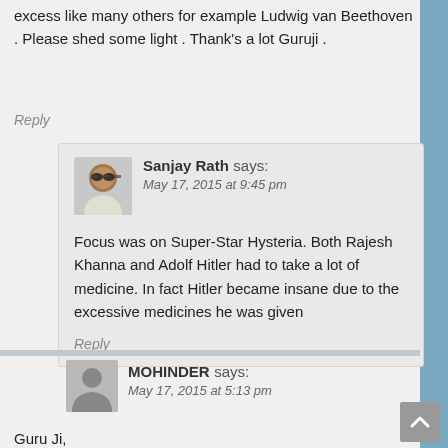excess like many others for example Ludwig van Beethoven . Please shed some light . Thank's a lot Guruji .
Reply
Sanjay Rath says: May 17, 2015 at 9:45 pm
Focus was on Super-Star Hysteria. Both Rajesh Khanna and Adolf Hitler had to take a lot of medicine. In fact Hitler became insane due to the excessive medicines he was given
Reply
MOHINDER says: May 17, 2015 at 5:13 pm
Guru Ji,